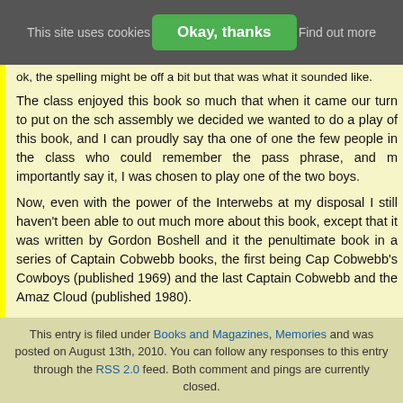This site uses cookies   Okay, thanks   Find out more
ok, the spelling might be off a bit but that was what it sounded like.
The class enjoyed this book so much that when it came our turn to put on the school assembly we decided we wanted to do a play of this book, and I can proudly say that as one of one the few people in the class who could remember the pass phrase, and more importantly say it, I was chosen to play one of the two boys.
Now, even with the power of the Interwebs at my disposal I still haven't been able to find out much more about this book, except that it was written by Gordon Boshell and it was the penultimate book in a series of Captain Cobwebb books, the first being Captain Cobwebb's Cowboys (published 1969) and the last Captain Cobwebb and the Amazon Cloud (published 1980).
I must thank the Fantastic Fiction website for the above information, but I fear the chances of me ever reading this book again to refresh my memory are slim, since these books are long out of print, and Fantastic Fiction have some sources selling second hand copies for around the fifty pound mark. Oh well, there's always eBay – I might get lucky one day…
Search for Captain Cobwebb and the Quogs items on Amazon.co.uk
» Tweet » »
This entry is filed under Books and Magazines, Memories and was posted on August 13th, 2010. You can follow any responses to this entry through the RSS 2.0 feed. Both comments and pings are currently closed.